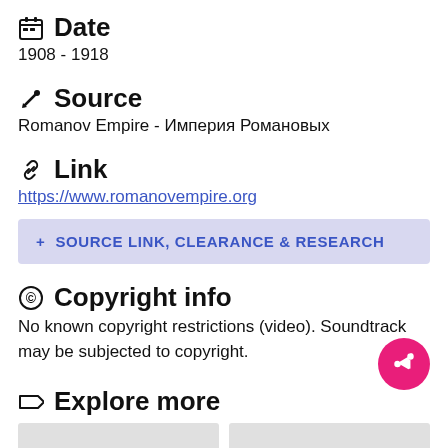Date
1908 - 1918
Source
Romanov Empire - Империя Романовых
Link
https://www.romanovempire.org
+ SOURCE LINK, CLEARANCE & RESEARCH
Copyright info
No known copyright restrictions (video). Soundtrack may be subjected to copyright.
Explore more